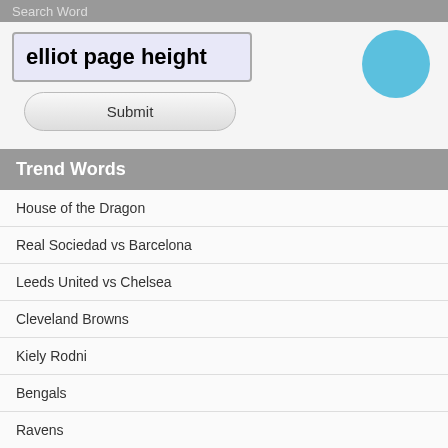Search Word
elliot page height
Submit
Trend Words
House of the Dragon
Real Sociedad vs Barcelona
Leeds United vs Chelsea
Cleveland Browns
Kiely Rodni
Bengals
Ravens
PSG
Man City
Albert Pujols
Arsenal
Jennifer Lopez